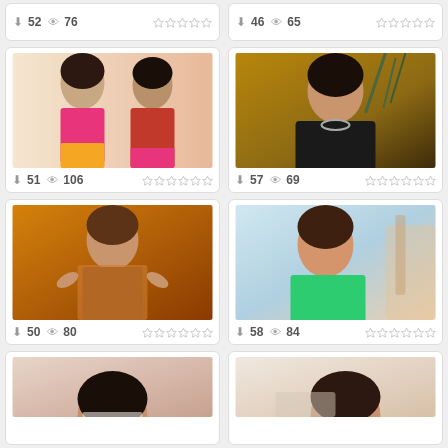[Figure (photo): Top-left partial card showing download count 52 and view count 76 with star rating]
[Figure (photo): Top-right partial card showing download count 46 and view count 65 with star rating]
[Figure (photo): Two women in colorful Indian sarees/lehenga. Download 51, views 106.]
[Figure (photo): Woman in black outfit with statement necklace. Download 57, views 69.]
[Figure (photo): Woman in sparkly outfit dancing. Download 50, views 80.]
[Figure (photo): Woman in green outfit looking sideways. Download 58, views 84.]
[Figure (photo): Partial bottom-left photo of woman]
[Figure (photo): Partial bottom-right photo of woman]